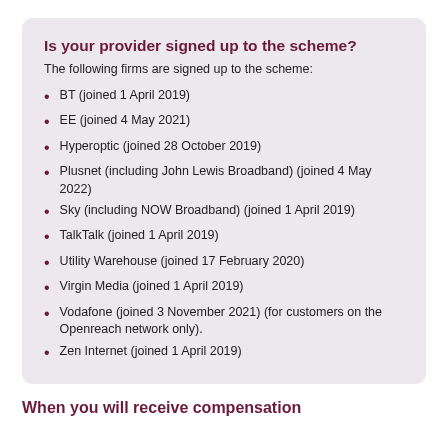Is your provider signed up to the scheme?
The following firms are signed up to the scheme:
BT (joined 1 April 2019)
EE (joined 4 May 2021)
Hyperoptic (joined 28 October 2019)
Plusnet (including John Lewis Broadband) (joined 4 May 2022)
Sky (including NOW Broadband) (joined 1 April 2019)
TalkTalk (joined 1 April 2019)
Utility Warehouse (joined 17 February 2020)
Virgin Media (joined 1 April 2019)
Vodafone (joined 3 November 2021) (for customers on the Openreach network only).
Zen Internet (joined 1 April 2019)
When you will receive compensation